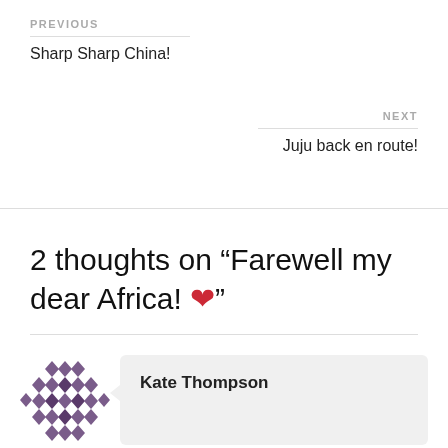PREVIOUS
Sharp Sharp China!
NEXT
Juju back en route!
2 thoughts on “Farewell my dear Africa! ❤️”
Kate Thompson